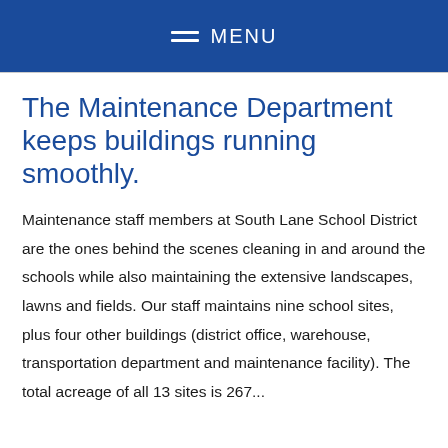MENU
The Maintenance Department keeps buildings running smoothly.
Maintenance staff members at South Lane School District are the ones behind the scenes cleaning in and around the schools while also maintaining the extensive landscapes, lawns and fields. Our staff maintains nine school sites, plus four other buildings (district office, warehouse, transportation department and maintenance facility). The total acreage of all 13 sites is 267...